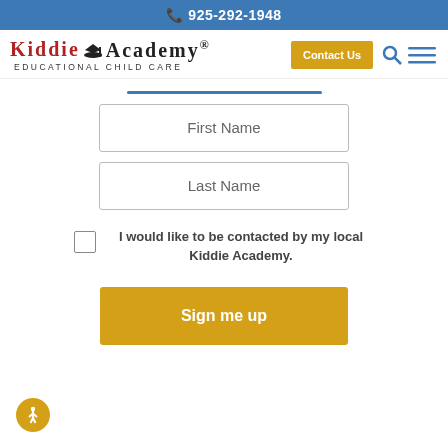925-292-1948
[Figure (logo): Kiddie Academy Educational Child Care logo with graduation cap icon]
Contact Us
[Figure (other): Search icon and hamburger menu icon]
First Name
Last Name
I would like to be contacted by my local Kiddie Academy.
Sign me up